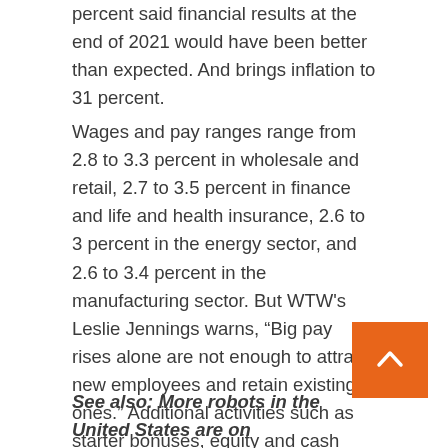percent said financial results at the end of 2021 would have been better than expected. And brings inflation to 31 percent.
Wages and pay ranges range from 2.8 to 3.3 percent in wholesale and retail, 2.7 to 3.5 percent in finance and life and health insurance, 2.6 to 3 percent in the energy sector, and 2.6 to 3.4 percent in the manufacturing sector. But WTW's Leslie Jennings warns, “Big pay rises alone are not enough to attract new employees and retain existing ones.” Additional activities such as starter bonuses, equity and cash lock-up, and incentives such as enhanced career opportunities, emphasis on mental health, diversity, equality and content and learning and retraining opportunities needed.
See also: More robots in the United States are on